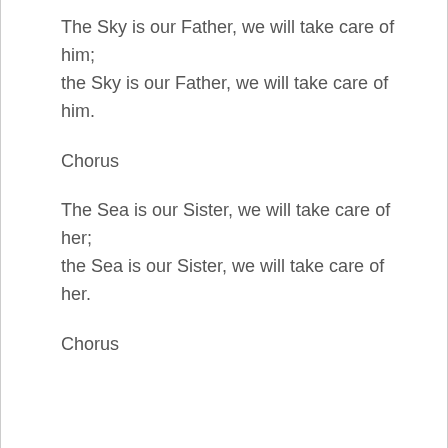The Sky is our Father, we will take care of him;
the Sky is our Father, we will take care of him.
Chorus
The Sea is our Sister, we will take care of her;
the Sea is our Sister, we will take care of her.
Chorus